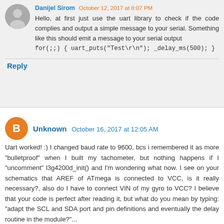Hello, at first just use the uart library to check if the code complies and output a simple message to your serial. Something like this should emit a message to your serial output for(;;) { uart_puts("Test\r\n"); _delay_ms(500); }
Reply
Unknown October 16, 2017 at 12:05 AM
Uart worked! :) I changed baud rate to 9600, bcs i remembered it as more "bulletproof" when I built my tachometer, but nothing happens if I "uncomment" l3g4200d_init() and I'm wondering what now. I see on your schematics that AREF of ATmega is connected to VCC, is it really necessary?, also do I have to connect VIN of my gyro to VCC? I believe that your code is perfect after reading it, but what do you mean by typing: "adapt the SCL and SDA port and pin definitions and eventually the delay routine in the module?" ...